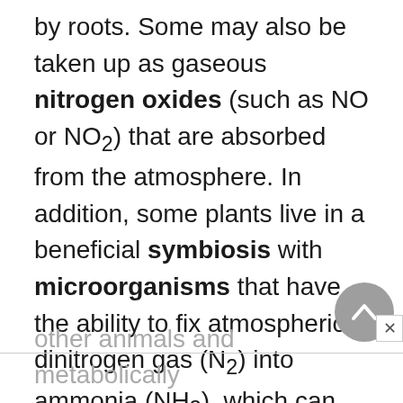by roots. Some may also be taken up as gaseous nitrogen oxides (such as NO or NO₂) that are absorbed from the atmosphere. In addition, some plants live in a beneficial symbiosis with microorganisms that have the ability to fix atmospheric dinitrogen gas (N₂) into ammonia (NH₃), which can be used as a nutrient. In contrast, almost all animals satisfy their nutritional needs by eating plants or
other animals and metabolically